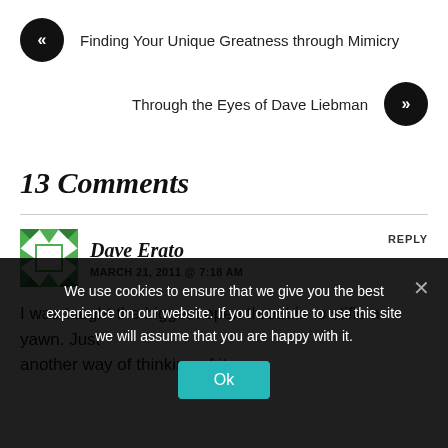« Finding Your Unique Greatness through Mimicry
Through the Eyes of Dave Liebman »
13 Comments
Dave Erato
MARCH 21, 2011 @ 7:18 AM
REPLY
I was taught the biggest open throat is to stifle a yawn. Just another way of thinking of it.
We use cookies to ensure that we give you the best experience on our website. If you continue to use this site we will assume that you are happy with it.